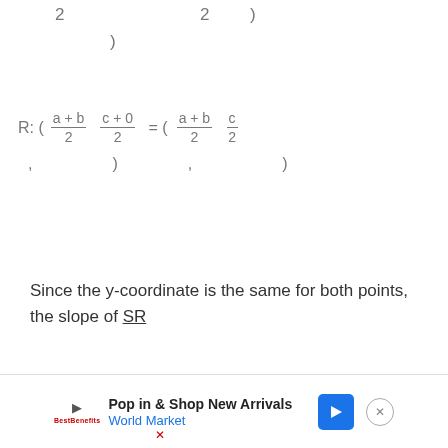Since the y-coordinate is the same for both points, the slope of SR
[Figure (other): Advertisement banner: Pop in & Shop New Arrivals - World Market]